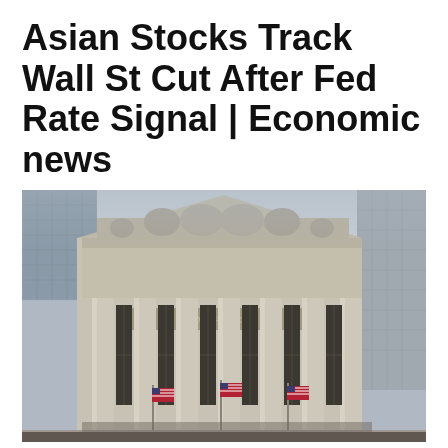Asian Stocks Track Wall St Cut After Fed Rate Signal | Economic news
January 6, 2022 | Written by Joanne W. Smith
[Figure (photo): Exterior photograph of the New York Stock Exchange building showing its classical Greek Revival architecture with large Corinthian columns, ornate pediment with sculpture frieze, and American flags hanging at the entrance. Surrounding skyscrapers visible in background.]